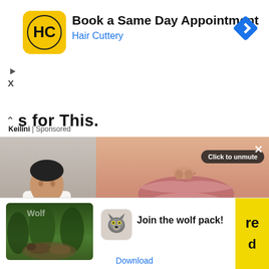[Figure (screenshot): Hair Cuttery ad banner with yellow HC logo, text 'Book a Same Day Appointment / Hair Cuttery', blue navigation arrow icon, play and X buttons]
s for This.
Keilini | Sponsored
[Figure (photo): Three overlapping images: man in white suit on left, close-up of woman's lips in center, illustrated woman with watering can on right with 'Click to unmute' button and X close button]
[Figure (screenshot): Bottom wolf game ad: 'Ad' badge, wolf forest image, wolf logo icon, text 'Join the wolf pack!', yellow strip with partial text 're' and 'd', Download link]
Join the wolf pack!
Download